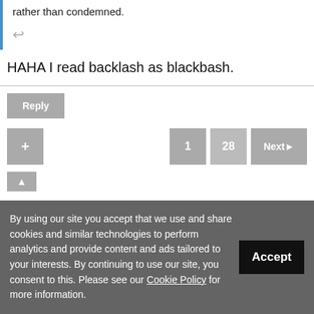rather than condemned.
HAHA I read backlash as blackbash.
Reply
1  28  Next
By using our site you accept that we use and share cookies and similar technologies to perform analytics and provide content and ads tailored to your interests. By continuing to use our site, you consent to this. Please see our Cookie Policy for more information.
Accept